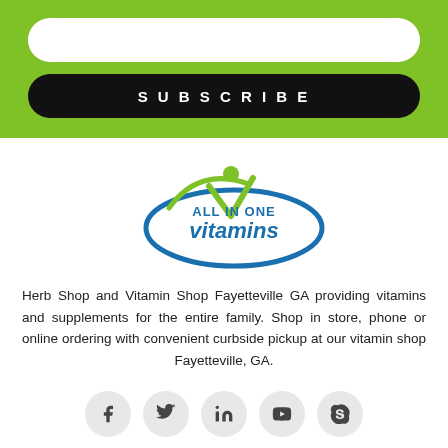[Figure (other): Green subscription section with a white rounded input box and a black rounded SUBSCRIBE button]
[Figure (logo): All In One Vitamins logo with green checkmark person icon, blue oval ellipse, blue italics vitamins text, and blue ALL IN ONE text]
Herb Shop and Vitamin Shop Fayetteville GA providing vitamins and supplements for the entire family. Shop in store, phone or online ordering with convenient curbside pickup at our vitamin shop Fayetteville, GA.
[Figure (other): Social media icons row: Facebook, Twitter, LinkedIn, YouTube, Skype — each in a light gray circle]